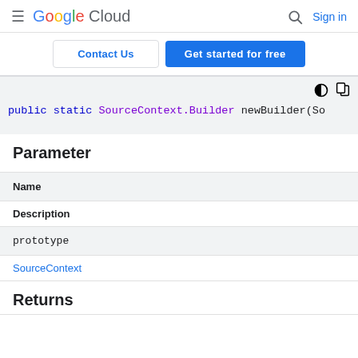Google Cloud — Search | Sign in
Contact Us | Get started for free
public static SourceContext.Builder newBuilder(So
Parameter
| Name |
| --- |
| Description |
| prototype |
| SourceContext |
Returns